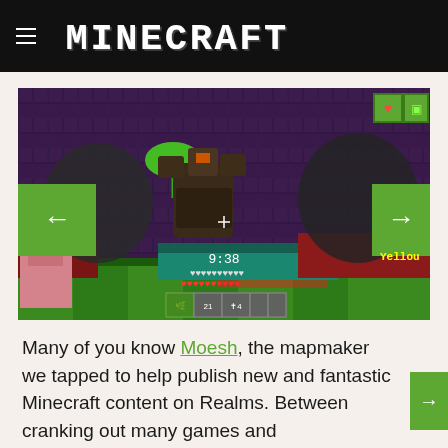hamburger MINECRAFT
[Figure (screenshot): Minecraft gameplay screenshot showing a Wither boss encounter with HUD elements including health bar, hotbar, timer showing 9:38, navigation arrows, and a pig character. Yellow text 'Yellow' visible in bottom right of screenshot.]
Many of you know Moesh, the mapmaker we tapped to help publish new and fantastic Minecraft content on Realms. Between cranking out many games and